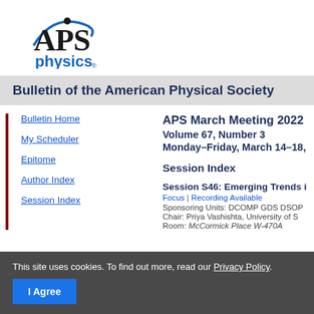[Figure (logo): APS Physics logo — 'APS' in black serif with blue swoosh arc and dot, 'physics' in blue sans-serif below]
Bulletin of the American Physical Society
Bulletin Home
My Scheduler
Epitome
Author Index
Session Index
APS March Meeting 2022
Volume 67, Number 3
Monday–Friday, March 14–18,
Session Index
Session S46: Emerging Trends i
Focus | Recording Available
Sponsoring Units: DCOMP GDS DSOF
Chair: Priya Vashishta, University of S
Room: McCormick Place W-470A
This site uses cookies. To find out more, read our Privacy Policy.
I Agree